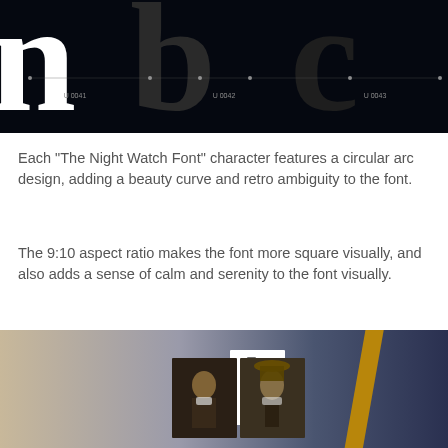[Figure (photo): Dark background typography specimen showing large serif letterforms (n, b, c) with circular arc design construction lines and Unicode code points U+0041, U+0042, U+0043 labeled below]
Each “The Night Watch Font” character features a circular arc design, adding a beauty curve and retro ambiguity to the font.
The 9:10 aspect ratio makes the font more square visually, and also adds a sense of calm and serenity to the font visually.
[Figure (photo): Photo of a blurred background with beige and blue tones, showing printed cards/booklets featuring portraits reminiscent of Rembrandt's Night Watch painting characters]